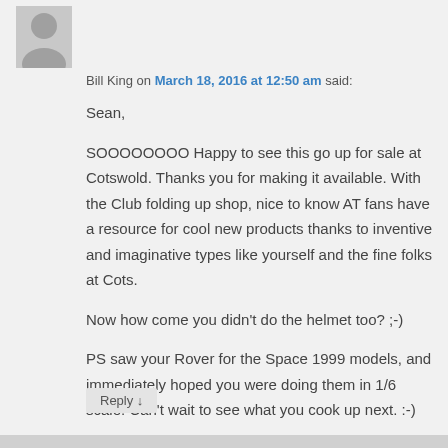[Figure (illustration): Grey silhouette avatar icon of a person]
Bill King on March 18, 2016 at 12:50 am said:
Sean,

SOOOOOOOO Happy to see this go up for sale at Cotswold. Thanks you for making it available. With the Club folding up shop, nice to know AT fans have a resource for cool new products thanks to inventive and imaginative types like yourself and the fine folks at Cots.

Now how come you didn't do the helmet too? ;-)

PS saw your Rover for the Space 1999 models, and immediately hoped you were doing them in 1/6 scale. Can't wait to see what you cook up next. :-)
Reply ↓